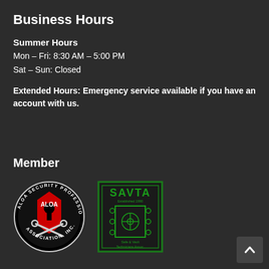Business Hours
Summer Hours
Mon – Fri:  8:30 AM – 5:00 PM
Sat – Sun:  Closed
Extended Hours: Emergency service available if you have an account with us.
Member
[Figure (logo): ALOA Security Professionals Association, Inc. oval logo with red shield and crossed keys]
[Figure (logo): SAVTA Safe & Vault Technicians Association rectangular green logo with safe illustration]